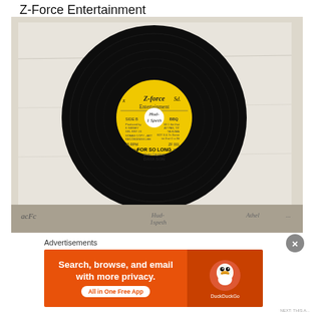Z-Force Entertainment
[Figure (photo): A 7-inch vinyl record with Z-Force Entertainment yellow label, Side B, showing handwritten text 'Hud-1 Speth' and 'Solid' on the label. Song title: FOR SO LONG by DAYA SON. Catalog number ZF 001. 45 RPM. Record on a white/cream paper sleeve.]
Advertisements
[Figure (screenshot): DuckDuckGo advertisement banner: 'Search, browse, and email with more privacy. All in One Free App' with DuckDuckGo duck logo on orange background.]